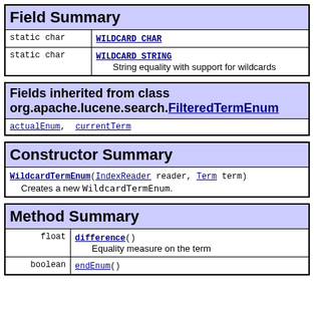| Field Summary |
| --- |
| static char | WILDCARD_CHAR |
| static char | WILDCARD_STRING
String equality with support for wildcards |
| Fields inherited from class org.apache.lucene.search.FilteredTermEnum |
| --- |
| actualEnum, currentTerm |
| Constructor Summary |
| --- |
| WildcardTermEnum(IndexReader reader, Term term)
Creates a new WildcardTermEnum. |
| Method Summary |
| --- |
| float | difference()
Equality measure on the term |
| boolean | endEnum() |